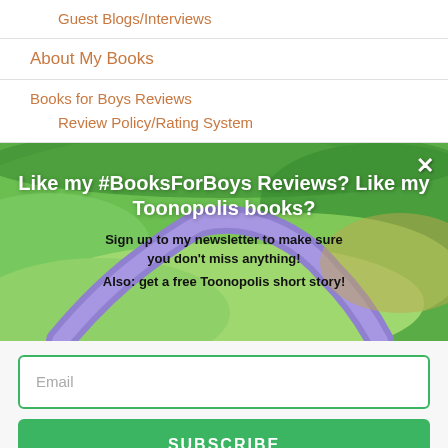Guest Blogs/Interviews
About My Books
Books for Boys Reviews
Review Policy/Rating System
[Figure (illustration): A colorful aerial/landscape illustration with green fields, a winding river with purple/blue tones, used as popup background. A close (×) button appears in the top right corner.]
Like my #BooksForBoys Reviews? Like my Toonopolis books?
Sign up to my newsletter to make sure you don't miss anything!
Also: get a free Toonopolis short story!
Email
SUBSCRIBE